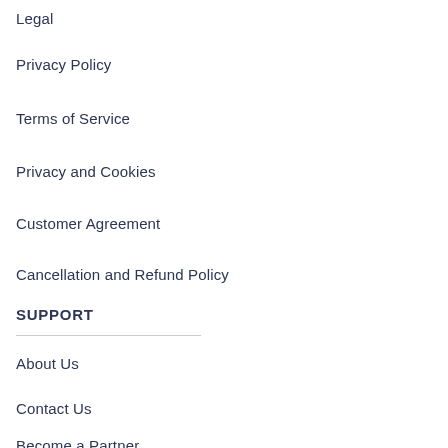Legal
Privacy Policy
Terms of Service
Privacy and Cookies
Customer Agreement
Cancellation and Refund Policy
SUPPORT
About Us
Contact Us
Become a Partner